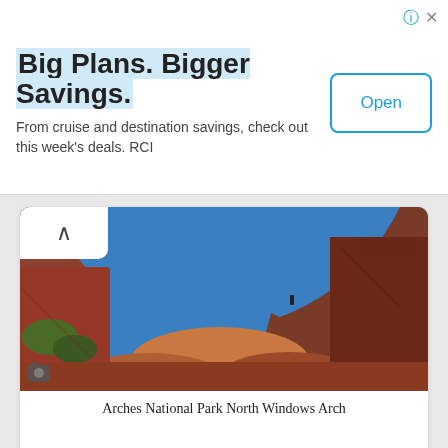[Figure (infographic): Advertisement banner: Big Plans. Bigger Savings. From cruise and destination savings, check out this week's deals. RCI. With an Open button.]
[Figure (photo): Photograph of Arches National Park North Windows Arch — red sandstone arch framing blue sky with rock formations below and a small human figure visible in the arch opening.]
Arches National Park North Windows Arch
[Figure (photo): Partial photograph showing a tall sandstone spire or fin rising against a cloudy sky — bottom portion of image card visible.]